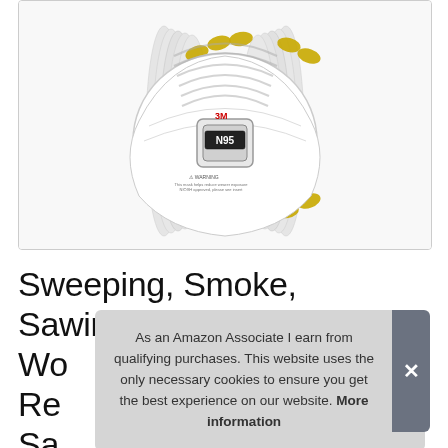[Figure (photo): Stack of 3M N95 respirator masks (model 8511) with yellow straps, viewed from the front. Multiple masks stacked behind one another. The front mask shows the 3M logo, N95 label, and a warning text printed on it.]
Sweeping, Smoke, Sawing, Dust, Wo Re Sa
As an Amazon Associate I earn from qualifying purchases. This website uses the only necessary cookies to ensure you get the best experience on our website. More information